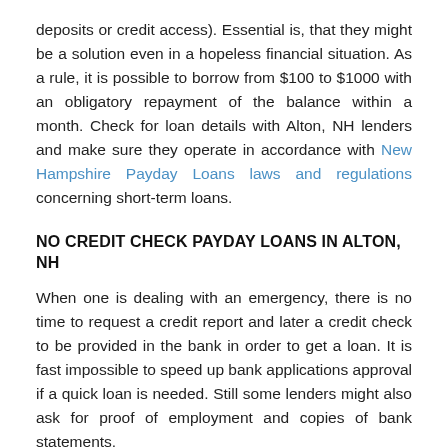deposits or credit access). Essential is, that they might be a solution even in a hopeless financial situation. As a rule, it is possible to borrow from $100 to $1000 with an obligatory repayment of the balance within a month. Check for loan details with Alton, NH lenders and make sure they operate in accordance with New Hampshire Payday Loans laws and regulations concerning short-term loans.
NO CREDIT CHECK PAYDAY LOANS IN ALTON, NH
When one is dealing with an emergency, there is no time to request a credit report and later a credit check to be provided in the bank in order to get a loan. It is fast impossible to speed up bank applications approval if a quick loan is needed. Still some lenders might also ask for proof of employment and copies of bank statements.